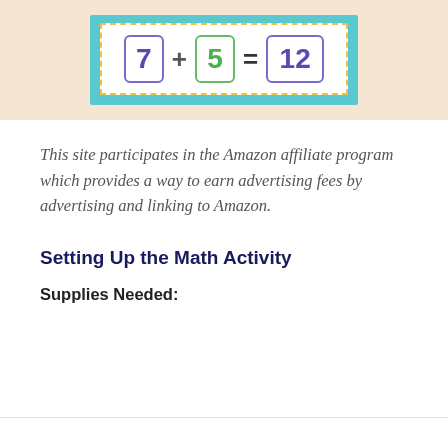[Figure (illustration): A math equation card showing 7 + 5 = 12 with each number in a bordered box, displayed on a teal background card with dashed yellow border, against a beige/tan background.]
This site participates in the Amazon affiliate program which provides a way to earn advertising fees by advertising and linking to Amazon.
Setting Up the Math Activity
Supplies Needed: